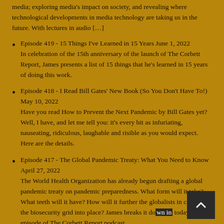media; exploring media's impact on society, and revealing where technological developments in media technology are taking us in the future. With lectures in audio […]
Episode 419 - 15 Things I've Learned in 15 Years June 1, 2022
In celebration of the 15th anniversary of the launch of The Corbett Report, James presents a list of 15 things that he's learned in 15 years of doing this work.
Episode 418 - I Read Bill Gates' New Book (So You Don't Have To!) May 10, 2022
Have you read How to Prevent the Next Pandemic by Bill Gates yet? Well, I have, and let me tell you: it's every bit as infuriating, nauseating, ridiculous, laughable and risible as you would expect. Here are the details.
Episode 417 - The Global Pandemic Treaty: What You Need to Know April 27, 2022
The World Health Organization has already begun drafting a global pandemic treaty on pandemic preparedness. What form will it take? What teeth will it have? How will it further the globalists in cementing the biosecurity grid into place? James breaks it down in today's episode of The Corbett Report podcast.
Episode 416 - SHOCKING Document Reveals Trudeau's REAL Plan! March 18, 2022